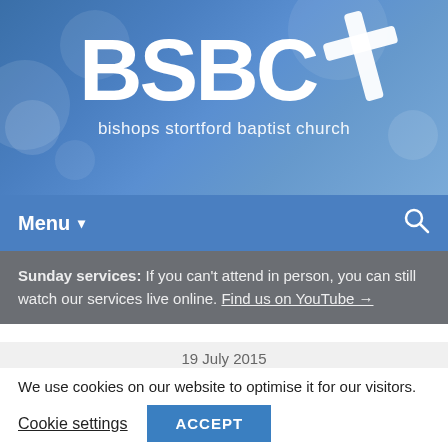[Figure (logo): BSBC logo with cross icon and tagline 'bishops stortford baptist church' on a blue bokeh background]
Menu ▾
Sunday services: If you can't attend in person, you can still watch our services live online. Find us on YouTube →
19 July 2015
We use cookies on our website to optimise it for our visitors.
Cookie settings  ACCEPT